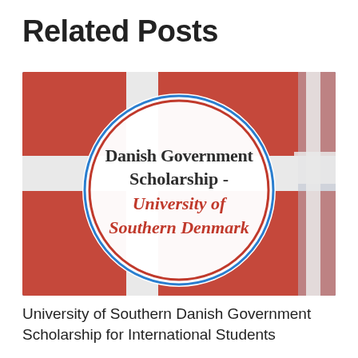Related Posts
[Figure (illustration): Promotional graphic for Danish Government Scholarship at University of Southern Denmark. Background shows a blurred Danish flag (red with white cross) with a bright blue sky. In the center is a large white circle with a red/blue outline. Inside the circle, text reads: 'Danish Government Scholarship - University of Southern Denmark' in dark and red fonts.]
University of Southern Danish Government Scholarship for International Students